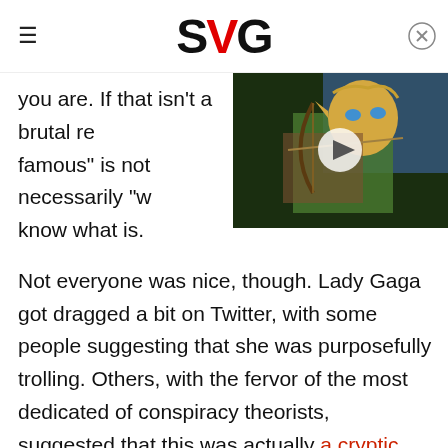SVG
you are. If that isn't a brutal re... famous" is not necessarily "w... know what is.

Not everyone was nice, though. Lady Gaga got dragged a bit on Twitter, with some people suggesting that she was purposefully trolling. Others, with the fervor of the most dedicated of conspiracy theorists, suggested that this was actually a cryptic clue as to when her next album will drop. Whether either one of those is true, we honestly can't say. Perhaps we'll wake up in a couple of days and discover this was all one big puzzle that needed to be solved in order to download a new Lady Gaga single or something.
[Figure (screenshot): Video thumbnail showing an animated character (Link from Legend of Zelda) drawing a bow, with a play button overlay]